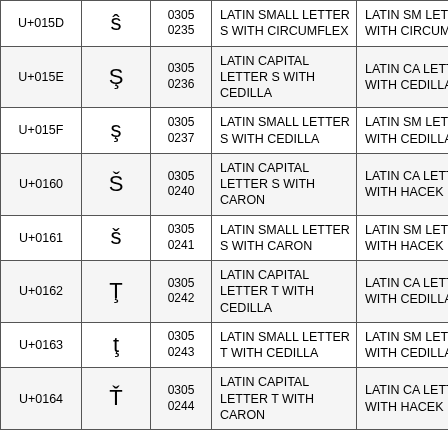| Code | Glyph | Num | Name | Alt Name |
| --- | --- | --- | --- | --- |
| U+015D | ŝ | 0305
0235 | LATIN SMALL LETTER S WITH CIRCUMFLEX | LATIN SMALL LETTER S WITH CIRCUMFLEX |
| U+015E | Ş | 0305
0236 | LATIN CAPITAL LETTER S WITH CEDILLA | LATIN CAPITAL LETTER S WITH CEDILLA |
| U+015F | ş | 0305
0237 | LATIN SMALL LETTER S WITH CEDILLA | LATIN SMALL LETTER S WITH CEDILLA |
| U+0160 | Š | 0305
0240 | LATIN CAPITAL LETTER S WITH CARON | LATIN CAPITAL LETTER S WITH HACEK |
| U+0161 | š | 0305
0241 | LATIN SMALL LETTER S WITH CARON | LATIN SMALL LETTER S WITH HACEK |
| U+0162 | Ţ | 0305
0242 | LATIN CAPITAL LETTER T WITH CEDILLA | LATIN CAPITAL LETTER T WITH CEDILLA |
| U+0163 | ţ | 0305
0243 | LATIN SMALL LETTER T WITH CEDILLA | LATIN SMALL LETTER T WITH CEDILLA |
| U+0164 | Ť | 0305
0244 | LATIN CAPITAL LETTER T WITH CARON | LATIN CAPITAL LETTER T WITH HACEK |